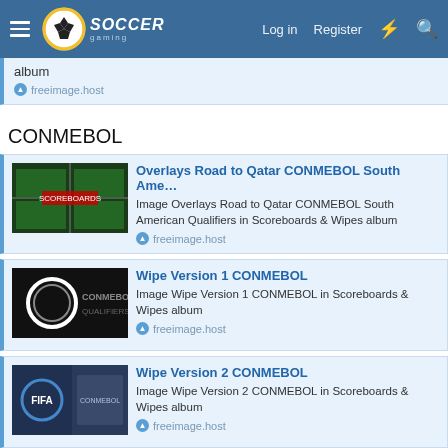Soccer Gaming — Log in | Register
album
freeimage.host
CONMEBOL
Overlays Road to Qatar CONMEBOL South Ame...
Image Overlays Road to Qatar CONMEBOL South American Qualifiers in Scoreboards & Wipes album
freeimage.host
Wipe Version 1 CONMEBOL
Image Wipe Version 1 CONMEBOL in Scoreboards & Wipes album
freeimage.host
Wipe Version 2 CONMEBOL
Image Wipe Version 2 CONMEBOL in Scoreboards & Wipes album
freeimage.host